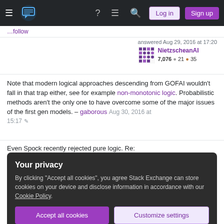[Figure (screenshot): Stack Exchange navigation bar with hamburger menu, logo, help icon, chat icon, search icon, Log in and Sign up buttons]
...follow
answered Aug 29, 2016 at 17:20
NietzscheanAI 7,076 ● 21 ● 35
Note that modern logical approaches descending from GOFAI wouldn't fall in that trap either, see for example non-monotonic logic. Probabilistic methods aren't the only one to have overcome some of the major issues of the first gen models. – gaborous Aug 30, 2016 at 15:17 ✎
Even Spock recently rejected pure logic. Re:
Your privacy
By clicking "Accept all cookies", you agree Stack Exchange can store cookies on your device and disclose information in accordance with our Cookie Policy.
Accept all cookies
Customize settings
that inferential infinite loop is a thing of the past